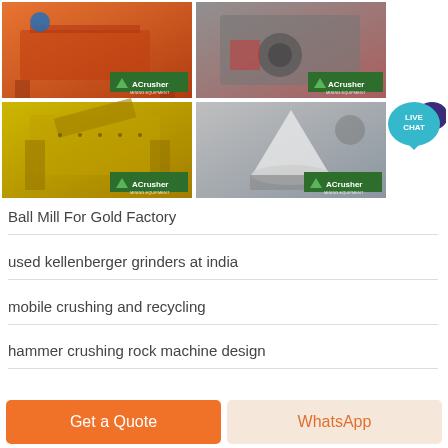[Figure (photo): Grid of four ACrusher mining/crushing equipment photos: orange vibrating screen, red jaw crusher, yellow impact crusher, grey cone crusher. Each photo has an ACrusher logo badge.]
[Figure (illustration): Live Chat speech bubble icon in teal/blue with dark blue chat icon]
Ball Mill For Gold Factory
used kellenberger grinders at india
mobile crushing and recycling
hammer crushing rock machine design
Get a Quote
WhatsApp